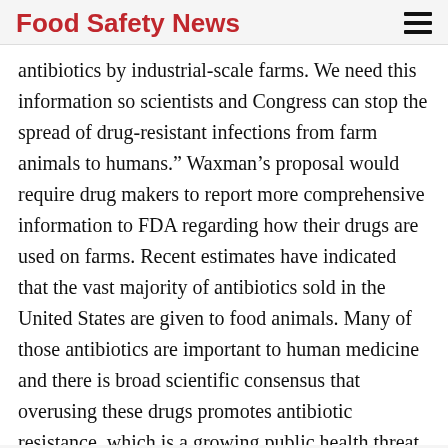Food Safety News
antibiotics by industrial-scale farms. We need this information so scientists and Congress can stop the spread of drug-resistant infections from farm animals to humans.” Waxman’s proposal would require drug makers to report more comprehensive information to FDA regarding how their drugs are used on farms. Recent estimates have indicated that the vast majority of antibiotics sold in the United States are given to food animals. Many of those antibiotics are important to human medicine and there is broad scientific consensus that overusing these drugs promotes antibiotic resistance, which is a growing public health threat. Currently, drug makers only report their total sales, but don’t have to distinguish